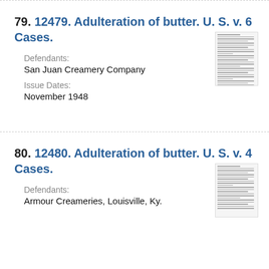79. 12479. Adulteration of butter. U. S. v. 6 Cases.
Defendants:
San Juan Creamery Company
Issue Dates:
November 1948
80. 12480. Adulteration of butter. U. S. v. 4 Cases.
Defendants:
Armour Creameries, Louisville, Ky.